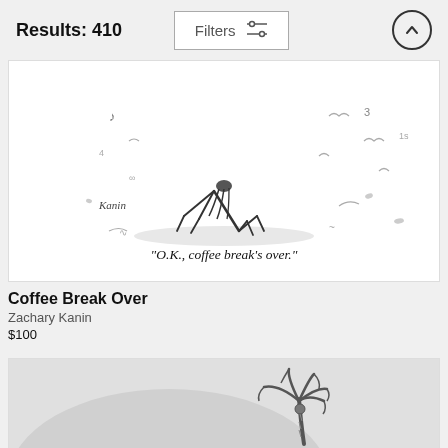Results: 410
[Figure (illustration): A New Yorker cartoon by Zachary Kanin showing a person doing yoga on a beach, with caption 'O.K., coffee break's over.']
Coffee Break Over
Zachary Kanin
$100
[Figure (illustration): Partial view of another cartoon showing a palm tree on what appears to be a desert island, on a gray/light background.]